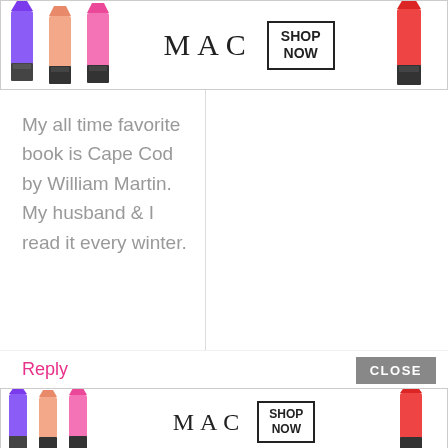[Figure (infographic): MAC Cosmetics advertisement banner showing lipsticks in purple, peach, pink, and red, with MAC logo and SHOP NOW button]
My all time favorite book is Cape Cod by William Martin. My husband & I read it every winter.
Reply
CLOSE
[Figure (infographic): MAC Cosmetics advertisement banner (bottom) showing lipsticks in purple, peach, pink, and red, with MAC logo and SHOP NOW button]